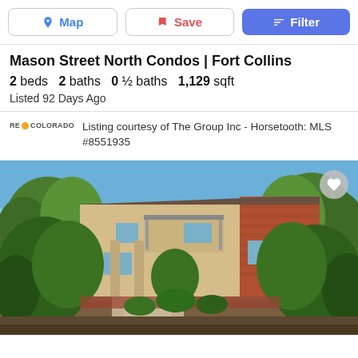Map | Save | Filter
Mason Street North Condos | Fort Collins
2 beds  2 baths  0 ½ baths  1,129 sqft
Listed 92 Days Ago
Listing courtesy of The Group Inc - Horsetooth: MLS #8551935
[Figure (photo): Exterior photo of Mason Street North Condos in Fort Collins, showing a two-story multi-unit building with a mix of brick and stucco facade, balconies, and mature trees lining the front walkway under a blue sky.]